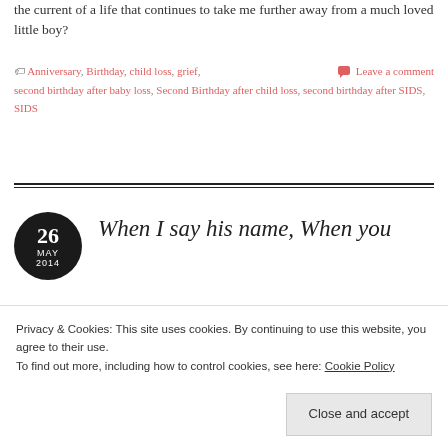the current of a life that continues to take me further away from a much loved little boy?
Tags: Anniversary, Birthday, child loss, grief, second birthday after baby loss, Second Birthday after child loss, second birthday after SIDS, SIDS — Leave a comment
When I say his name, When you ...
Privacy & Cookies: This site uses cookies. By continuing to use this website, you agree to their use.
To find out more, including how to control cookies, see here: Cookie Policy
Close and accept